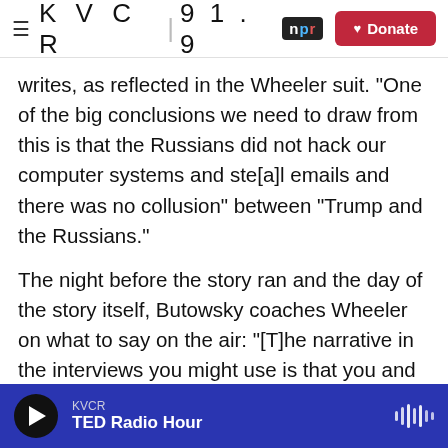KVCR 91.9 NPR | Donate
writes, as reflected in the Wheeler suit. "One of the big conclusions we need to draw from this is that the Russians did not hack our computer systems and ste[a]l emails and there was no collusion" between "Trump and the Russians."
The night before the story ran and the day of the story itself, Butowsky coaches Wheeler on what to say on the air: "[T]he narrative in the interviews you might use is that you and [Fox News reporter Malia Zimmerman's] work prove that the Russians didn't hack into the DNC and steal the emails and impact our elections." In another text, he writes: "If you can,
KVCR | TED Radio Hour